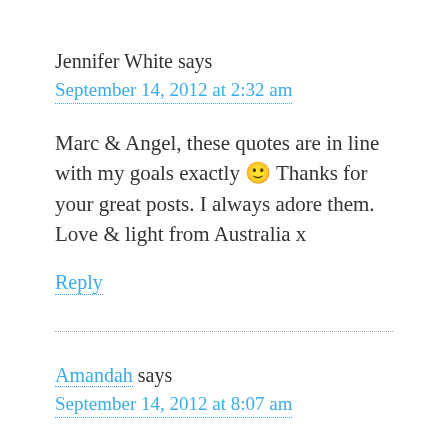Jennifer White says
September 14, 2012 at 2:32 am
Marc & Angel, these quotes are in line with my goals exactly 🙂 Thanks for your great posts. I always adore them. Love & light from Australia x
Reply
Amandah says
September 14, 2012 at 8:07 am
These are great quotes to jump start the